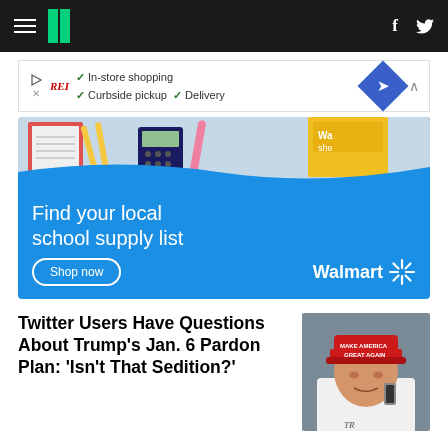HuffPost navigation bar with hamburger menu, logo, Facebook and Twitter icons
[Figure (screenshot): Advertisement strip: play button, Rei brand logo in red, checkmarks for In-store shopping, Curbside pickup, Delivery, blue diamond navigation icon, collapse arrow]
[Figure (photo): Walmart advertisement: school supplies on desk (notebooks, pencils, calculators, markers) at top, blue background with text 'Find your local school supply list', Shop now button, Walmart logo with spark]
Twitter Users Have Questions About Trump's Jan. 6 Pardon Plan: 'Isn't That Sedition?'
[Figure (photo): Photo of Donald Trump wearing red MAKE AMERICA GREAT AGAIN hat and white shirt, holding phone to ear, with TR initials visible at bottom]